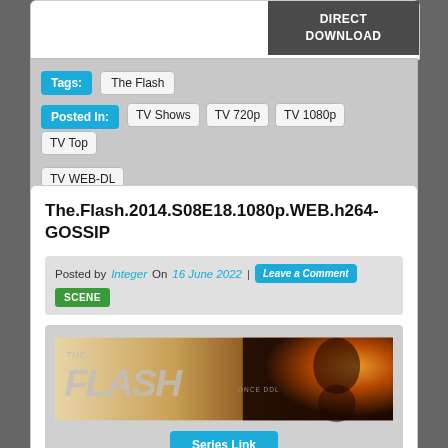DIRECT DOWNLOAD
Tags: The Flash
Posted In: TV Shows  TV 720p  TV 1080p  TV Top  TV WEB-DL
The.Flash.2014.S08E18.1080p.WEB.h264-GOSSIP
Posted by Integer On 16 June 2022 | Leave a Comment  SCENE
[Figure (photo): The Flash TV show banner image with stylized THE FLASH logo text over a warm gradient background with a hero figure silhouette on the right]
Series Link